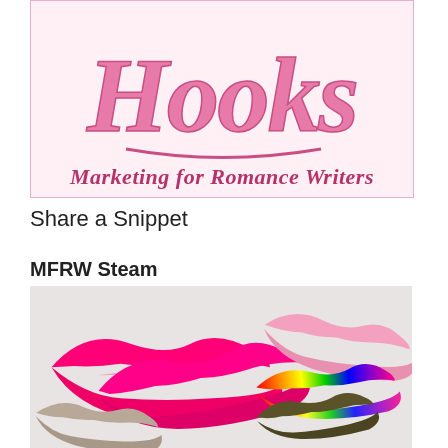[Figure (logo): Hooks Marketing for Romance Writers logo with pink cursive Hooks text and tagline Marketing for Romance Writers on light pink background]
Share a Snippet
MFRW Steam
[Figure (illustration): Multiple colorful lip/kiss mark silhouettes in hot pink, light pink, rainbow colors, taupe/gray, and dark olive on a light gray textured background]